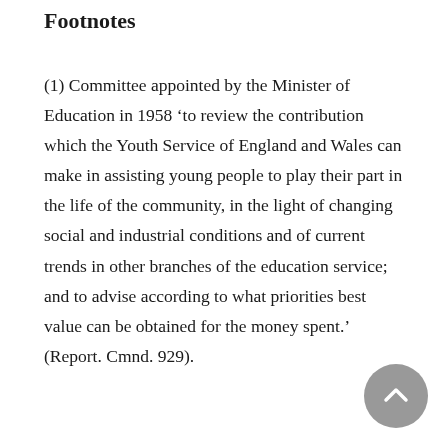Footnotes
(1) Committee appointed by the Minister of Education in 1958 ‘to review the contribution which the Youth Service of England and Wales can make in assisting young people to play their part in the life of the community, in the light of changing social and industrial conditions and of current trends in other branches of the education service; and to advise according to what priorities best value can be obtained for the money spent.’ (Report. Cmnd. 929).